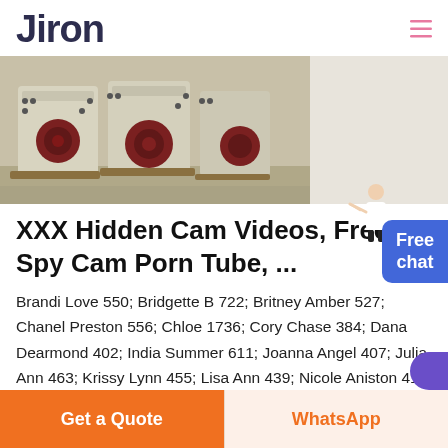Jiron
[Figure (photo): Industrial crushing/milling machines (white/cream colored) lined up in a warehouse or factory setting.]
XXX Hidden Cam Videos, Free Spy Cam Porn Tube, ...
Brandi Love 550; Bridgette B 722; Britney Amber 527; Chanel Preston 556; Chloe 1736; Cory Chase 384; Dana Dearmond 402; India Summer 611; Joanna Angel 407; Julia Ann 463; Krissy Lynn 455; Lisa Ann 439; Nicole Aniston 412; Obsessi